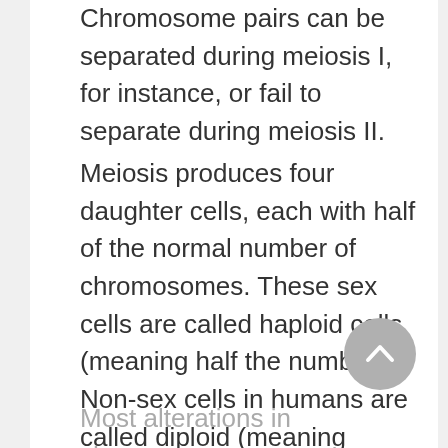Chromosome pairs can be separated during meiosis I, for instance, or fail to separate during meiosis II.
Meiosis produces four daughter cells, each with half of the normal number of chromosomes. These sex cells are called haploid cells (meaning half the number). Non-sex cells in humans are called diploid (meaning double the number) since they contain the full number of normal chromosomes.
Most alterations in chromosome